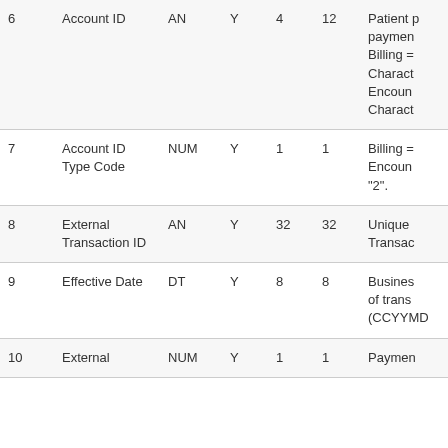| # | Name | Type | Req | Min | Max | Description |
| --- | --- | --- | --- | --- | --- | --- |
| 6 | Account ID | AN | Y | 4 | 12 | Patient payment... Billing = Charact... Encoun... Charact... |
| 7 | Account ID Type Code | NUM | Y | 1 | 1 | Billing = Encoun... "2". |
| 8 | External Transaction ID | AN | Y | 32 | 32 | Unique Transac... |
| 9 | Effective Date | DT | Y | 8 | 8 | Busines of trans (CCYYMD... |
| 10 | External | NUM | Y | 1 | 1 | Paymen... |